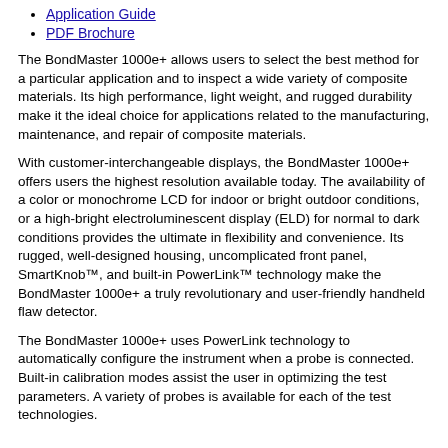Application Guide
PDF Brochure
The BondMaster 1000e+ allows users to select the best method for a particular application and to inspect a wide variety of composite materials. Its high performance, light weight, and rugged durability make it the ideal choice for applications related to the manufacturing, maintenance, and repair of composite materials.
With customer-interchangeable displays, the BondMaster 1000e+ offers users the highest resolution available today. The availability of a color or monochrome LCD for indoor or bright outdoor conditions, or a high-bright electroluminescent display (ELD) for normal to dark conditions provides the ultimate in flexibility and convenience. Its rugged, well-designed housing, uncomplicated front panel, SmartKnob™, and built-in PowerLink™ technology make the BondMaster 1000e+ a truly revolutionary and user-friendly handheld flaw detector.
The BondMaster 1000e+ uses PowerLink technology to automatically configure the instrument when a probe is connected. Built-in calibration modes assist the user in optimizing the test parameters. A variety of probes is available for each of the test technologies.